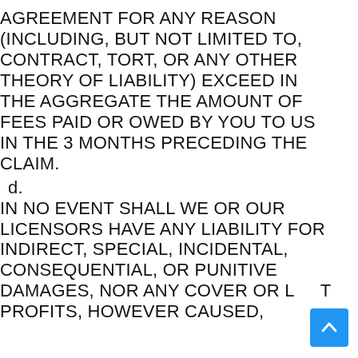AGREEMENT FOR ANY REASON (INCLUDING, BUT NOT LIMITED TO, CONTRACT, TORT, OR ANY OTHER THEORY OF LIABILITY) EXCEED IN THE AGGREGATE THE AMOUNT OF FEES PAID OR OWED BY YOU TO US IN THE 3 MONTHS PRECEDING THE CLAIM.
d. IN NO EVENT SHALL WE OR OUR LICENSORS HAVE ANY LIABILITY FOR INDIRECT, SPECIAL, INCIDENTAL, CONSEQUENTIAL, OR PUNITIVE DAMAGES, NOR ANY COVER OR LOST PROFITS, HOWEVER CAUSED,